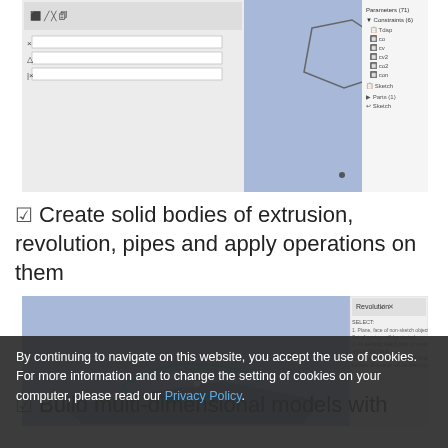[Figure (screenshot): CAD software screenshot showing a 2D sketch with a hexagonal shape on a blue viewport, alongside a parameter panel and a model tree showing constraints]
Create solid bodies of extrusion, revolution, pipes and apply operations on them
[Figure (screenshot): CAD software screenshot showing a 3D extrusion operation on a flat surface with a curved profile, with an operation panel on the right side]
Build multi-dimensional models with
By continuing to navigate on this website, you accept the use of cookies. For more information and to change the setting of cookies on your computer, please read our Privacy Policy.